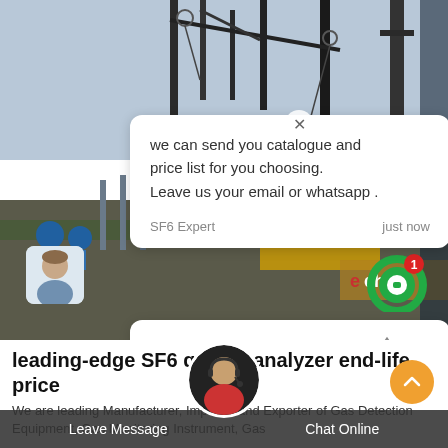[Figure (photo): Background photo of industrial electrical substation with cranes, high-voltage equipment, workers in hard hats, and transmission infrastructure. Overlaid with a chat widget and UI elements.]
we can send you catalogue and price list for you choosing.
Leave us your email or whatsapp .
SF6 Expert    just now
Write a reply..
leading-edge SF6 quality analyzer end-life price
We are leading Manufacturer, Importer and Exporter of Gas Detection Equipment, Gas Monitoring Instrument, Gas
Leave Message    Chat Online